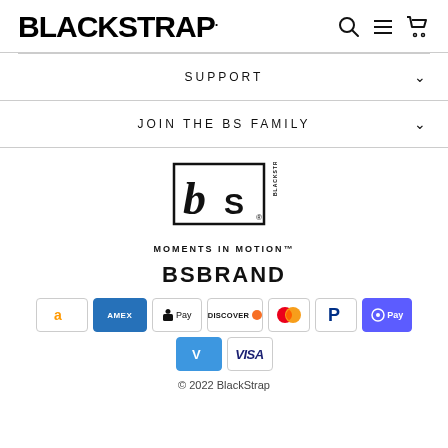BLACKSTRAP.
SUPPORT
JOIN THE BS FAMILY
[Figure (logo): BlackStrap bS logo with 'MOMENTS IN MOTION' tagline]
BSBRAND
[Figure (infographic): Payment method icons: Amazon, Amex, Apple Pay, Discover, Mastercard, PayPal, G Pay, Venmo, Visa]
© 2022 BlackStrap